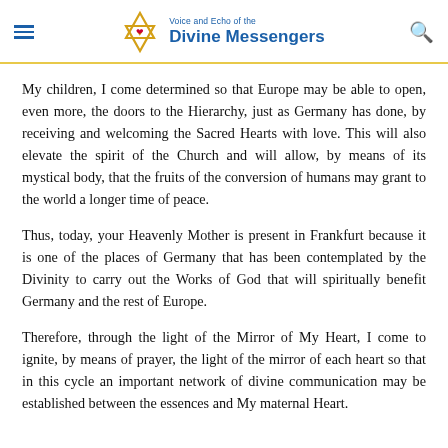Voice and Echo of the Divine Messengers
My children, I come determined so that Europe may be able to open, even more, the doors to the Hierarchy, just as Germany has done, by receiving and welcoming the Sacred Hearts with love. This will also elevate the spirit of the Church and will allow, by means of its mystical body, that the fruits of the conversion of humans may grant to the world a longer time of peace.
Thus, today, your Heavenly Mother is present in Frankfurt because it is one of the places of Germany that has been contemplated by the Divinity to carry out the Works of God that will spiritually benefit Germany and the rest of Europe.
Therefore, through the light of the Mirror of My Heart, I come to ignite, by means of prayer, the light of the mirror of each heart so that in this cycle an important network of divine communication may be established between the essences and My maternal Heart.